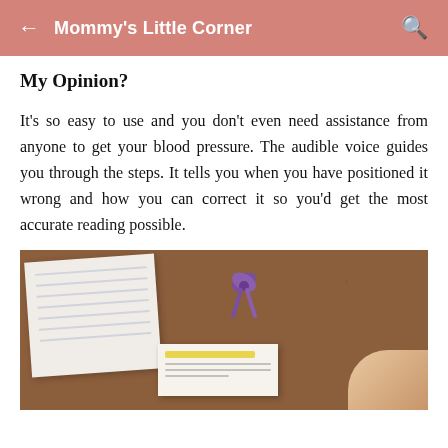Mommy's Little Corner
My Opinion?
It's so easy to use and you don't even need assistance from anyone to get your blood pressure. The audible voice guides you through the steps. It tells you when you have positioned it wrong and how you can correct it so you'd get the most accurate reading possible.
[Figure (photo): Photo of a cork board with a white paper, a purple ribbon/decoration, a card with yellow highlight, and a hand visible at the bottom right.]